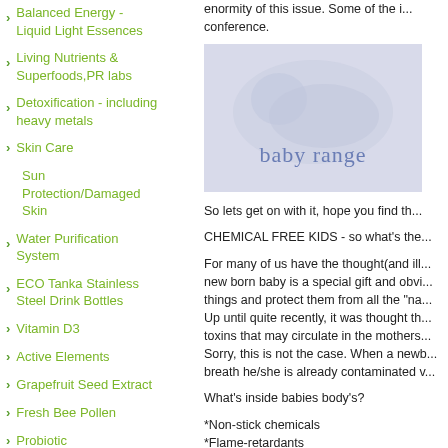Balanced Energy - Liquid Light Essences
Living Nutrients & Superfoods,PR labs
Detoxification - including heavy metals
Skin Care
Sun Protection/Damaged Skin
Water Purification System
ECO Tanka Stainless Steel Drink Bottles
Vitamin D3
Active Elements
Grapefruit Seed Extract
Fresh Bee Pollen
Probiotic
Acid/Alkaline Balance
enormity of this issue. Some of the i... conference.
[Figure (photo): Baby sleeping with 'baby range' text overlay on a light purple/grey background]
So lets get on with it, hope you find th...
CHEMICAL FREE KIDS - so what's the...
For many of us have the thought(and ill... new born baby is a special gift and obvi... things and protect them from all the "na... Up until quite recently, it was thought th... toxins that may circulate in the mothers... Sorry, this is not the case. When a newb... breath he/she is already contaminated v...
What's inside babies body's?
*Non-stick chemicals
*Flame-retardants
*Perfumes
*Artificial musks used in cosmetics and...